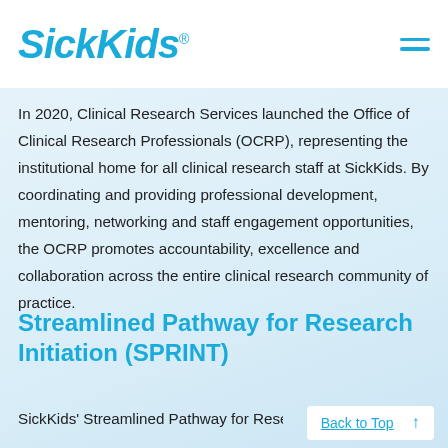SickKids
In 2020, Clinical Research Services launched the Office of Clinical Research Professionals (OCRP), representing the institutional home for all clinical research staff at SickKids. By coordinating and providing professional development, mentoring, networking and staff engagement opportunities, the OCRP promotes accountability, excellence and collaboration across the entire clinical research community of practice.
Streamlined Pathway for Research Initiation (SPRINT)
SickKids' Streamlined Pathway for Research
Back to Top ↑